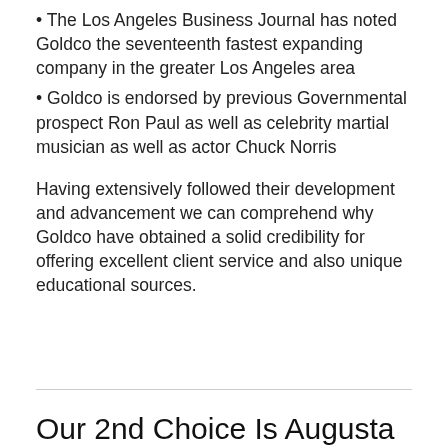The Los Angeles Business Journal has noted Goldco the seventeenth fastest expanding company in the greater Los Angeles area
Goldco is endorsed by previous Governmental prospect Ron Paul as well as celebrity martial musician as well as actor Chuck Norris
Having extensively followed their development and advancement we can comprehend why Goldco have obtained a solid credibility for offering excellent client service and also unique educational sources.
Our 2nd Choice Is Augusta